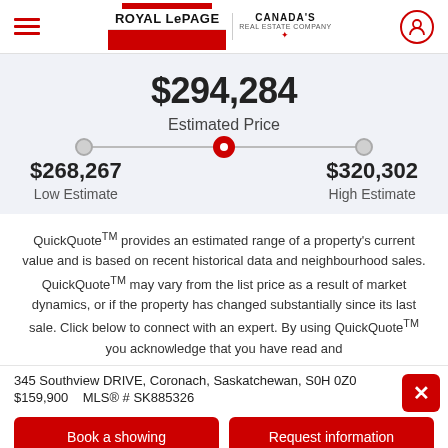Royal LePage — Canada's Real Estate Company
$294,284
Estimated Price
$268,267 Low Estimate — $320,302 High Estimate
QuickQuote™ provides an estimated range of a property's current value and is based on recent historical data and neighbourhood sales. QuickQuote™ may vary from the list price as a result of market dynamics, or if the property has changed substantially since its last sale. Click below to connect with an expert. By using QuickQuote™ you acknowledge that you have read and
345 Southview DRIVE, Coronach, Saskatchewan, S0H 0Z0
$159,900    MLS® # SK885326
Book a showing
Request information